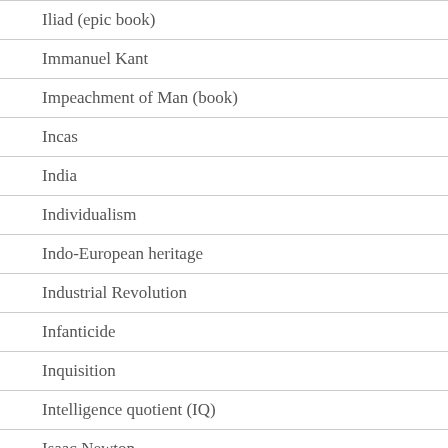Iliad (epic book)
Immanuel Kant
Impeachment of Man (book)
Incas
India
Individualism
Indo-European heritage
Industrial Revolution
Infanticide
Inquisition
Intelligence quotient (IQ)
Isaac Newton